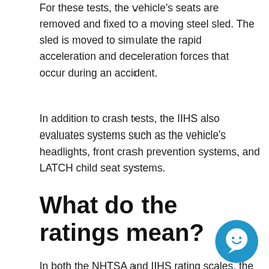For these tests, the vehicle's seats are removed and fixed to a moving steel sled. The sled is moved to simulate the rapid acceleration and deceleration forces that occur during an accident.
In addition to crash tests, the IIHS also evaluates systems such as the vehicle's headlights, front crash prevention systems, and LATCH child seat systems.
What do the ratings mean?
In both the NHTSA and IIHS rating scales, the